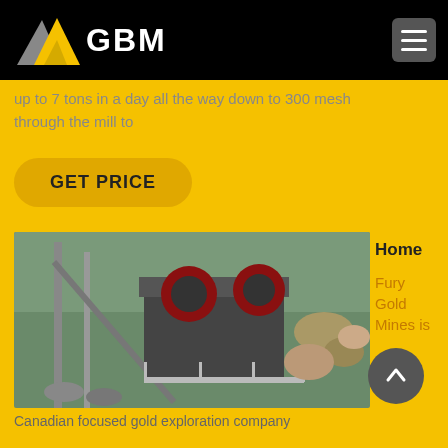[Figure (logo): GBM logo with triangular mountain shape in gold/gray and GBM text in white]
up to 7 tons in a day all the way down to 300 mesh through the mill to
GET PRICE
[Figure (photo): Industrial mining jaw crusher equipment on a platform with rocks and trees in background]
Home
Fury Gold Mines is
Canadian focused gold exploration company